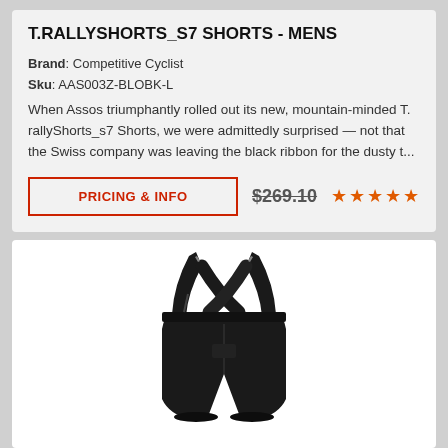T.RALLYSHORTS_S7 SHORTS - MENS
Brand: Competitive Cyclist
Sku: AAS003Z-BLOBK-L
When Assos triumphantly rolled out its new, mountain-minded T. rallyShorts_s7 Shorts, we were admittedly surprised — not that the Swiss company was leaving the black ribbon for the dusty t...
PRICING & INFO
$269.10
[Figure (illustration): Black bib cycling shorts with crossed shoulder straps/suspenders, shown from the front against white background]